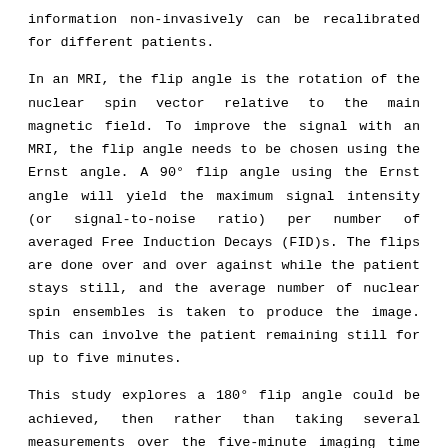information non-invasively can be recalibrated for different patients.
In an MRI, the flip angle is the rotation of the nuclear spin vector relative to the main magnetic field. To improve the signal with an MRI, the flip angle needs to be chosen using the Ernst angle. A 90° flip angle using the Ernst angle will yield the maximum signal intensity (or signal-to-noise ratio) per number of averaged Free Induction Decays (FID)s. The flips are done over and over against while the patient stays still, and the average number of nuclear spin ensembles is taken to produce the image. This can involve the patient remaining still for up to five minutes.
This study explores a 180° flip angle could be achieved, then rather than taking several measurements over the five-minute imaging time experienced by the patient, it could produce a decisive image one measurement. The